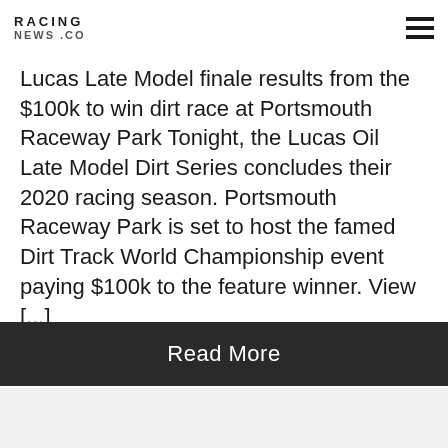RACING NEWS .CO
Lucas Late Model finale results from the $100k to win dirt race at Portsmouth Raceway Park Tonight, the Lucas Oil Late Model Dirt Series concludes their 2020 racing season. Portsmouth Raceway Park is set to host the famed Dirt Track World Championship event paying $100k to the feature winner. View [...]
Read More